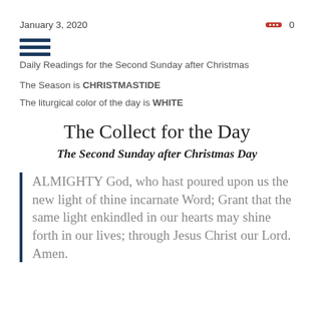January 3, 2020
[Figure (other): Hamburger menu icon (three horizontal dark blue bars)]
Daily Readings for the Second Sunday after Christmas
The Season is CHRISTMASTIDE
The liturgical color of the day is WHITE
The Collect for the Day
The Second Sunday after Christmas Day
ALMIGHTY God, who hast poured upon us the new light of thine incarnate Word; Grant that the same light enkindled in our hearts may shine forth in our lives; through Jesus Christ our Lord. Amen.